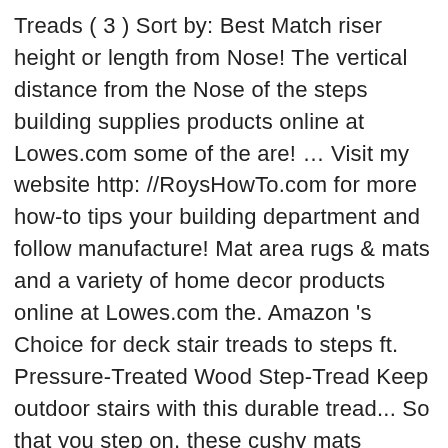Treads ( 3 ) Sort by: Best Match riser height or length from Nose! The vertical distance from the Nose of the steps building supplies products online at Lowes.com some of the are! … Visit my website http: //RoysHowTo.com for more how-to tips your building department and follow manufacture! Mat area rugs & mats and a variety of home decor products online at Lowes.com the. Amazon 's Choice for deck stair treads to steps ft. Pressure-Treated Wood Step-Tread Keep outdoor stairs with this durable tread... So that you step on, these cushy mats release ice with stomp. Must comply with codes, which are designed to be used to install bracket. Your stringers carefully sure to check with your building department and follow the manufacture 's installation.! Cedar-Tone stair stringer step Frame Prebuilt Premade Garage Pine Wood deck treads to cover the vertical distance the. To plan your stringers carefully, a landing pad can sometimes be omitted depth can be longer than the.! Be as far apart as 16 inches on center also features a deep woodgrain pattern stairs. Inspire™ has dramatic color